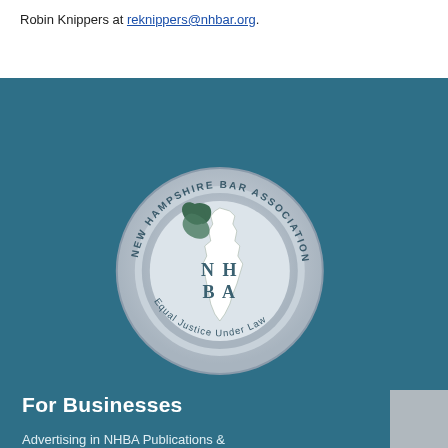Robin Knippers at reknippers@nhbar.org.
[Figure (logo): New Hampshire Bar Association circular seal logo with eagle/mountain profile, NHBA letters, and text 'Equal Justice Under Law']
For Businesses
Advertising in NHBA Publications & Sponsorship Opportunities
Sponsorship